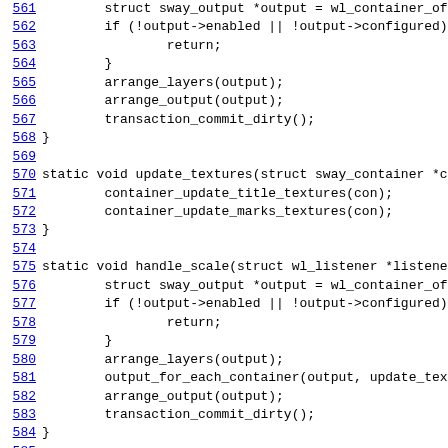[Figure (screenshot): Source code listing showing C functions: lines 561-592 of a sway compositor source file, including handle_output_transform, update_textures, handle_scale, and send_presented_iterator functions.]